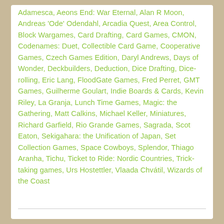Adamesca, Aeons End: War Eternal, Alan R Moon, Andreas 'Ode' Odendahl, Arcadia Quest, Area Control, Block Wargames, Card Drafting, Card Games, CMON, Codenames: Duet, Collectible Card Game, Cooperative Games, Czech Games Edition, Daryl Andrews, Days of Wonder, Deckbuilders, Deduction, Dice Drafting, Dice-rolling, Eric Lang, FloodGate Games, Fred Perret, GMT Games, Guilherme Goulart, Indie Boards & Cards, Kevin Riley, La Granja, Lunch Time Games, Magic: the Gathering, Matt Calkins, Michael Keller, Miniatures, Richard Garfield, Rio Grande Games, Sagrada, Scot Eaton, Sekigahara: the Unification of Japan, Set Collection Games, Space Cowboys, Splendor, Thiago Aranha, Tichu, Ticket to Ride: Nordic Countries, Trick-taking games, Urs Hostettler, Vlaada Chvátil, Wizards of the Coast